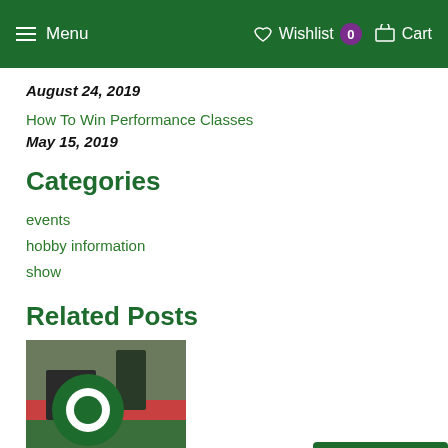Menu  Wishlist 0  Cart
August 24, 2019
How To Win Performance Classes
May 15, 2019
Categories
events
hobby information
show
Related Posts
[Figure (photo): A related post thumbnail showing a model horse scene with a green circular logo overlay]
2020 A Bit of Ma(i)ne Model Wee